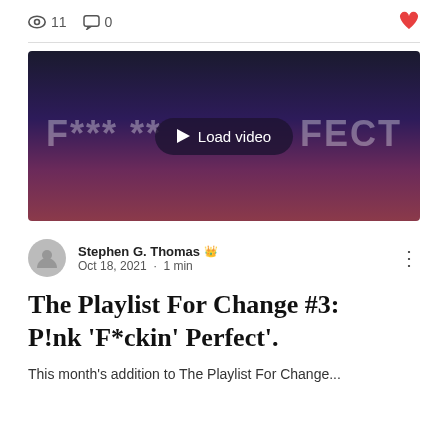11 views  0 comments  ♥ like
[Figure (screenshot): Video thumbnail with dark purple/pink gradient background showing text 'F*** **' Perfect' with a 'Load video' play button overlay in the center]
Stephen G. Thomas  Admin
Oct 18, 2021  ·  1 min
The Playlist For Change #3: P!nk 'F*ckin' Perfect'.
This month's addition to The Playlist For Change...